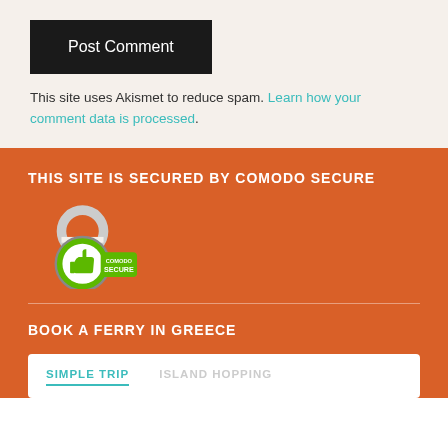Post Comment
This site uses Akismet to reduce spam. Learn how your comment data is processed.
THIS SITE IS SECURED BY COMODO SECURE
[Figure (logo): Comodo Secure badge with padlock and thumbs-up icon]
BOOK A FERRY IN GREECE
SIMPLE TRIP    ISLAND HOPPING